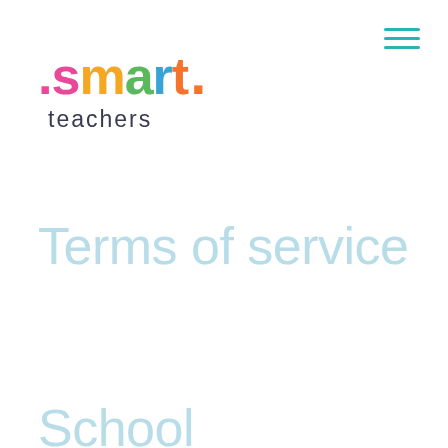[Figure (logo): Smart Teachers logo with colorful letters: pink dot, pink 's', yellow 'm', green 'a', blue 'r', orange 't', orange dot, and 'teachers' in dark gray below]
Terms of service
School...